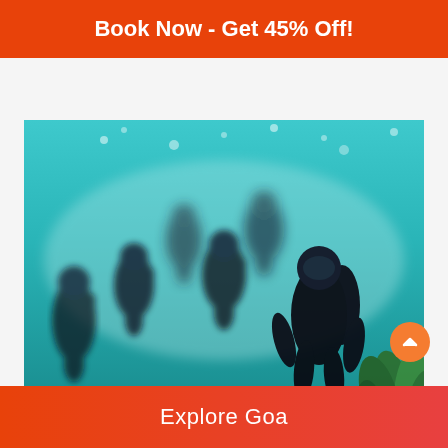Book Now - Get 45% Off!
[Figure (photo): Group of scuba divers underwater in turquoise/teal water, with green coral visible at the bottom right. Multiple divers with tanks and gear are visible, some in the foreground and some deeper in the background.]
Scuba Diving at Sea, Goa Island in Goa...
Explore Goa